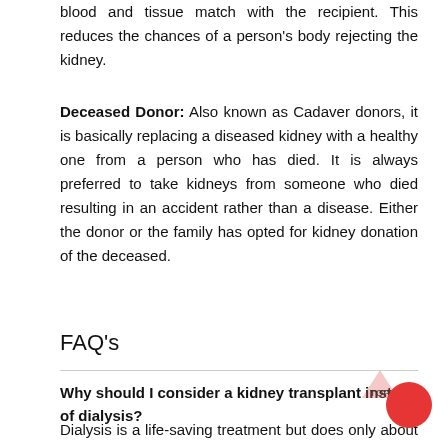blood and tissue match with the recipient. This reduces the chances of a person's body rejecting the kidney.
Deceased Donor: Also known as Cadaver donors, it is basically replacing a diseased kidney with a healthy one from a person who has died. It is always preferred to take kidneys from someone who died resulting in an accident rather than a disease. Either the donor or the family has opted for kidney donation of the deceased.
FAQ's
Why should I consider a kidney transplant instead of dialysis?
Dialysis is a life-saving treatment but does only about 10 percent of the work that a functioning kidney does. Dialysis can also cause other health problems. Patients typically live 10 to 15 years longer with a kidney transplant than if they stayed on dialysis.